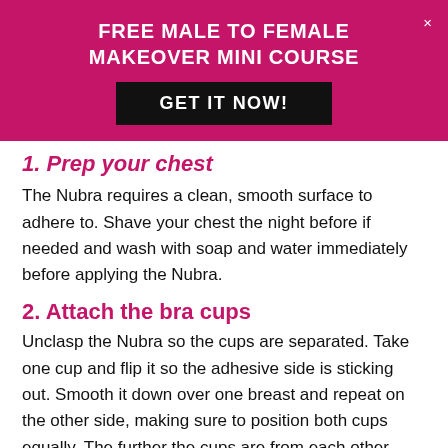FREE MALE TO FEMALE MAKEOVER MINI COURSE
GET IT NOW!
1. Prep your chest
The Nubra requires a clean, smooth surface to adhere to. Shave your chest the night before if needed and wash with soap and water immediately before applying the Nubra.
2. Attach the bra cups
Unclasp the Nubra so the cups are separated. Take one cup and flip it so the adhesive side is sticking out. Smooth it down over one breast and repeat on the other side, making sure to position both cups equally. The further the cups are from each other,